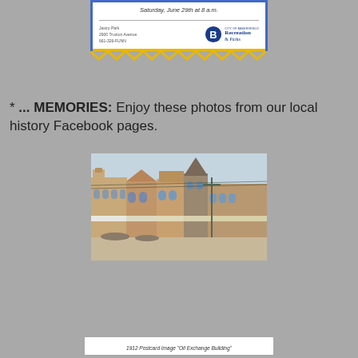[Figure (other): City of Bakersfield Recreation & Parks event ticket/flyer showing date Saturday, June 29th at 8 a.m., address Jastro Park, 2900 Truxtun Avenue, 661-326-FUNN, with blue and gold border and Recreation & Parks logo]
* ... MEMORIES: Enjoy these photos from our local history Facebook pages.
[Figure (photo): Historical colorized photograph of a street scene showing a row of ornate Victorian-era commercial buildings with awnings and horse-drawn carriages on the street]
1912 Postcard Image "Oil Exchange Building"